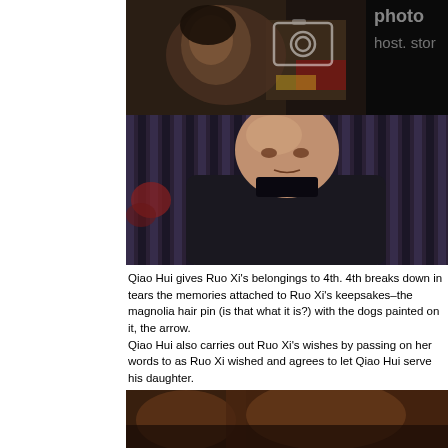[Figure (photo): Top photo: close-up scene from a Chinese historical drama, dark toned, with a photo hosting watermark overlay (photobucket-style icon and 'host. store' text)]
[Figure (photo): Middle photo: bald man in dark traditional Chinese clothing looking downward, striped backdrop with floral elements]
Qiao Hui gives Ruo Xi's belongings to 4th. 4th breaks down in tears the memories attached to Ruo Xi's keepsakes–the magnolia hair pin (is that what it is?) with the dogs painted on it, the arrow.
Qiao Hui also carries out Ruo Xi's wishes by passing on her words to as Ruo Xi wished and agrees to let Qiao Hui serve his daughter.
[Figure (photo): Bottom partial photo: scene from Chinese historical drama with warm reddish-brown tones]